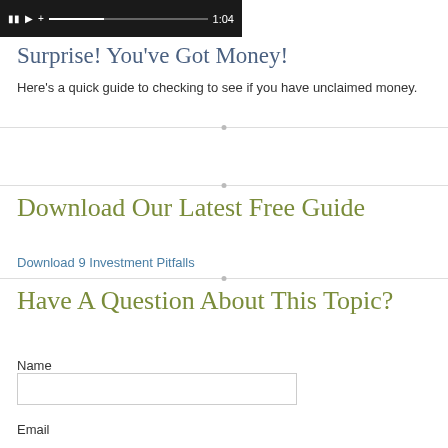[Figure (screenshot): Video player bar showing pause/play controls, progress bar, and time 1:04]
Surprise! You've Got Money!
Here's a quick guide to checking to see if you have unclaimed money.
Download Our Latest Free Guide
Download 9 Investment Pitfalls
Have A Question About This Topic?
Name
Email